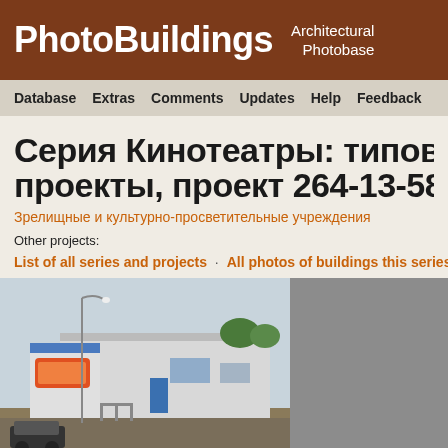PhotoBuildings — Architectural Photobase
Database   Extras   Comments   Updates   Help   Feedback
Серия Кинотеатры: типовые и пов... проекты, проект 264-13-58, 264-1...
Зрелищные и культурно-просветительные учреждения
Other projects:
List of all series and projects · All photos of buildings this series
[Figure (photo): Exterior photo of a cinema building — a low-rise white/grey structure with colorful signage and a street lamp in the foreground, trees in background]
[Figure (photo): Second photo — grey/placeholder area, content cropped]